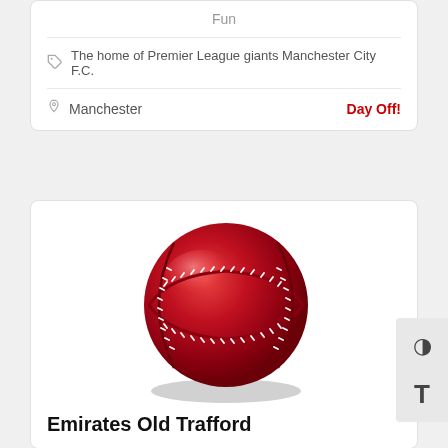Fun
The home of Premier League giants Manchester City F.C.
Manchester
Day Off!
[Figure (illustration): A red cricket ball with white stitching seams, shown in 3D illustration style with shadow beneath.]
Emirates Old Trafford